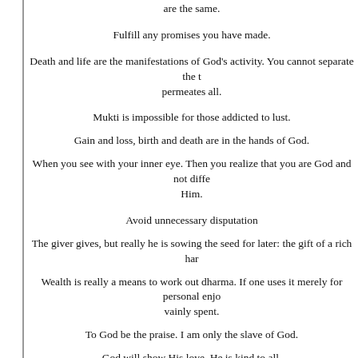are the same.
Fulfill any promises you have made.
Death and life are the manifestations of God's activity. You cannot separate the two. God permeates all.
Mukti is impossible for those addicted to lust.
Gain and loss, birth and death are in the hands of God.
When you see with your inner eye. Then you realize that you are God and not different from Him.
Avoid unnecessary disputation
The giver gives, but really he is sowing the seed for later: the gift of a rich har...
Wealth is really a means to work out dharma. If one uses it merely for personal enjo... vainly spent.
To God be the praise. I am only the slave of God.
God will show His love. He is kind to all.
Whenever you undertake to do something, do it thoroughly or not at all.
One's sin will not cease till one falls at the feet of Sadhus